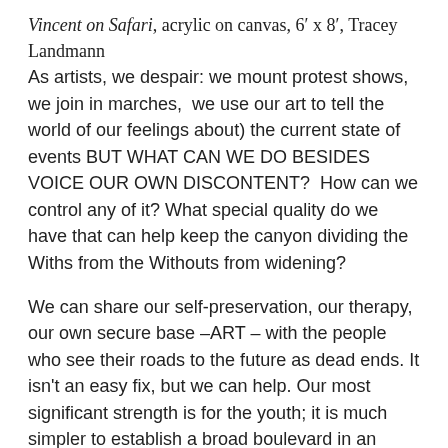Vincent on Safari, acrylic on canvas, 6′ x 8′, Tracey Landmann
As artists, we despair: we mount protest shows, we join in marches,  we use our art to tell the world of our feelings about) the current state of events BUT WHAT CAN WE DO BESIDES VOICE OUR OWN DISCONTENT?  How can we control any of it? What special quality do we have that can help keep the canyon dividing the Withs from the Withouts from widening?
We can share our self-preservation, our therapy, our own secure base –ART – with the people who see their roads to the future as dead ends. It isn't an easy fix, but we can help. Our most significant strength is for the youth; it is much simpler to establish a broad boulevard in an open space than it is to widen a narrow road in an overpopulated city.  We can literally expand environments and alter thought patterns for the juvenile members of disadvantaged groups before mental pathways become set. The self-awareness, ability to